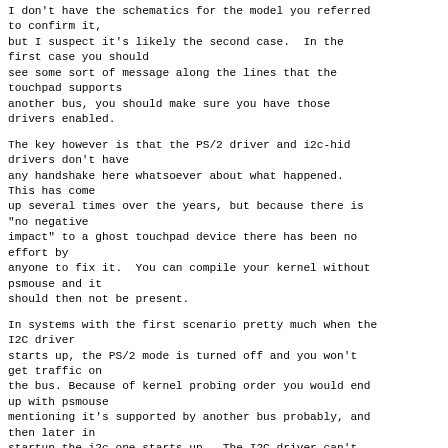I don't have the schematics for the model you referred to confirm it, but I suspect it's likely the second case.  In the first case you should see some sort of message along the lines that the touchpad supports another bus, you should make sure you have those drivers enabled.
The key however is that the PS/2 driver and i2c-hid drivers don't have any handshake here whatsoever about what happened.  This has come up several times over the years, but because there is "no negative impact" to a ghost touchpad device there has been no effort by anyone to fix it.  You can compile your kernel without psmouse and it should then not be present.
In systems with the first scenario pretty much when the I2C driver starts up, the PS/2 mode is turned off and you won't get traffic on the bus. Because of kernel probing order you would end up with psmouse mentioning it's supported by another bus probably, and then later in startup the i2c one starts up.  The I2C driver can't just notify psmouse.